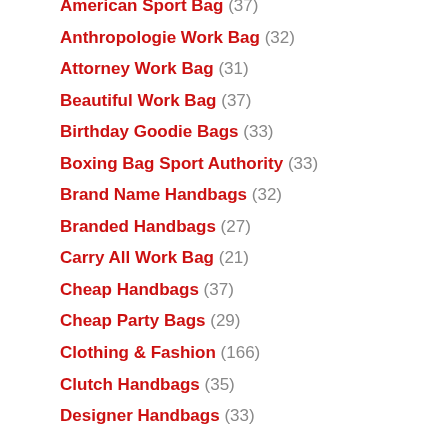American Sport Bag (37)
Anthropologie Work Bag (32)
Attorney Work Bag (31)
Beautiful Work Bag (37)
Birthday Goodie Bags (33)
Boxing Bag Sport Authority (33)
Brand Name Handbags (32)
Branded Handbags (27)
Carry All Work Bag (21)
Cheap Handbags (37)
Cheap Party Bags (29)
Clothing & Fashion (166)
Clutch Handbags (35)
Designer Handbags (33)